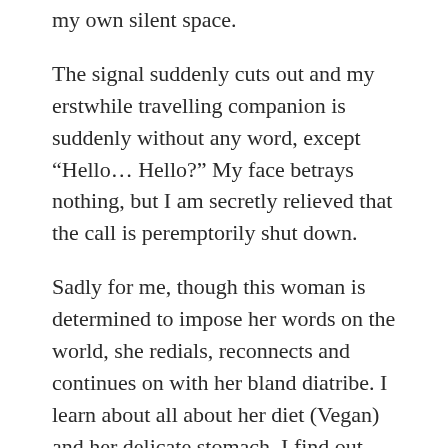my own silent space.
The signal suddenly cuts out and my erstwhile travelling companion is suddenly without any word, except “Hello… Hello?” My face betrays nothing, but I am secretly relieved that the call is peremptorily shut down.
Sadly for me, though this woman is determined to impose her words on the world, she redials, reconnects and continues on with her bland diatribe. I learn about all about her diet (Vegan) and her delicate stomach. I find out where she is going today and who she is going to meet. I learn all about escapades that her dog, Tilly, gets into. Apparently this canine character is a daring escape artist, who slips wantonly off the